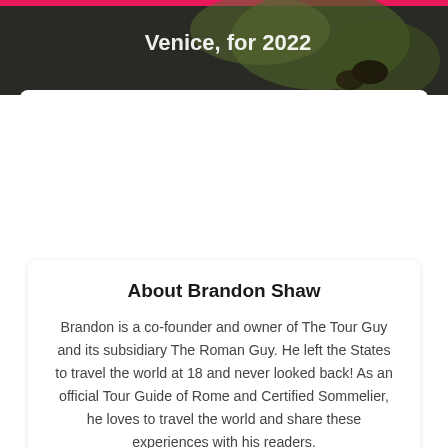[Figure (photo): Top portion of a food/travel image with overlaid white bold text reading 'Venice, for 2022' on a dark photographic background with greenery and food visible. A pink/red bar is visible at the very top.]
About Brandon Shaw
Brandon is a co-founder and owner of The Tour Guy and its subsidiary The Roman Guy. He left the States to travel the world at 18 and never looked back! As an official Tour Guide of Rome and Certified Sommelier, he loves to travel the world and share these experiences with his readers.